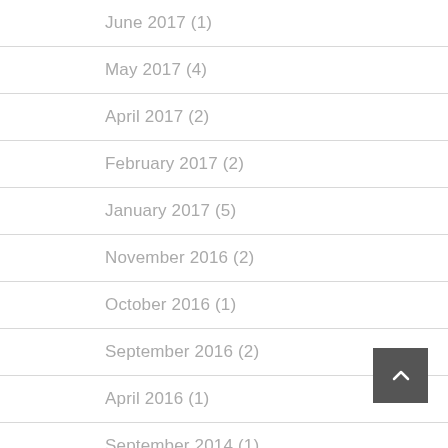June 2017 (1)
May 2017 (4)
April 2017 (2)
February 2017 (2)
January 2017 (5)
November 2016 (2)
October 2016 (1)
September 2016 (2)
April 2016 (1)
September 2014 (1)